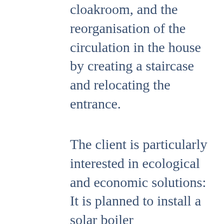cloakroom, and the reorganisation of the circulation in the house by creating a staircase and relocating the entrance.
The client is particularly interested in ecological and economic solutions: It is planned to install a solar boiler (heating/sanitary) in combination with a wood boiler as a